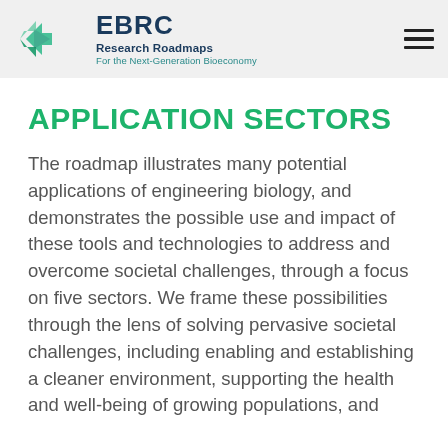EBRC Research Roadmaps For the Next-Generation Bioeconomy
APPLICATION SECTORS
The roadmap illustrates many potential applications of engineering biology, and demonstrates the possible use and impact of these tools and technologies to address and overcome societal challenges, through a focus on five sectors. We frame these possibilities through the lens of solving pervasive societal challenges, including enabling and establishing a cleaner environment, supporting the health and well-being of growing populations, and